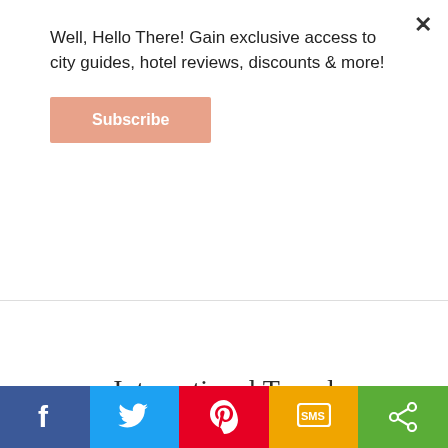Well, Hello There! Gain exclusive access to city guides, hotel reviews, discounts & more!
Subscribe
[Figure (photo): Family with a dog in front of ancient Roman arches, with overlay text TRAVEL ABROAD WITH YOUR PET]
International Travel with Your Pet
[Figure (infographic): Social sharing bar with Facebook, Twitter, Pinterest, SMS, and Share buttons]